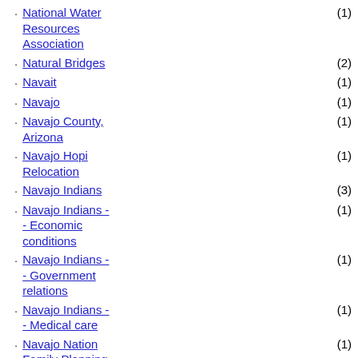National Water Resources Association (1)
Natural Bridges (2)
Navait (1)
Navajo (1)
Navajo County, Arizona (1)
Navajo Hopi Relocation (1)
Navajo Indians (3)
Navajo Indians - - Economic conditions (1)
Navajo Indians - - Government relations (1)
Navajo Indians - - Medical care (1)
Navajo Nation Family Planning Corporation (1)
Navajo National Monument (1)
Navajo Reservation (1)
Navigation (1)
Needles (1)